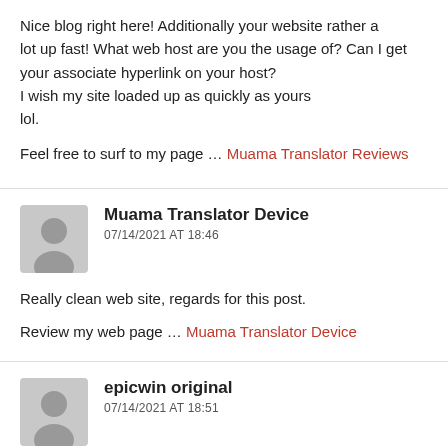Nice blog right here! Additionally your website rather a lot up fast! What web host are you the usage of? Can I get your associate hyperlink on your host?
I wish my site loaded up as quickly as yours lol.
Feel free to surf to my page … Muama Translator Reviews
Muama Translator Device
07/14/2021 AT 18:46
Really clean web site, regards for this post.
Review my web page … Muama Translator Device
epicwin original
07/14/2021 AT 18:51